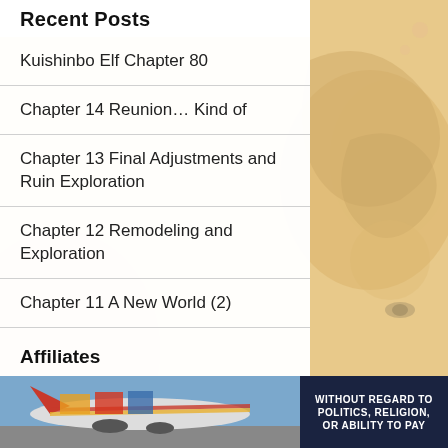Recent Posts
Kuishinbo Elf Chapter 80
Chapter 14 Reunion… Kind of
Chapter 13 Final Adjustments and Ruin Exploration
Chapter 12 Remodeling and Exploration
Chapter 11 A New World (2)
Affiliates
Re:Library
Novel Updates
[Figure (photo): Advertisement banner showing an airplane being loaded with cargo, American Airlines branding colors visible. Text overlay reads: WITHOUT REGARD TO POLITICS, RELIGION, OR ABILITY TO PAY]